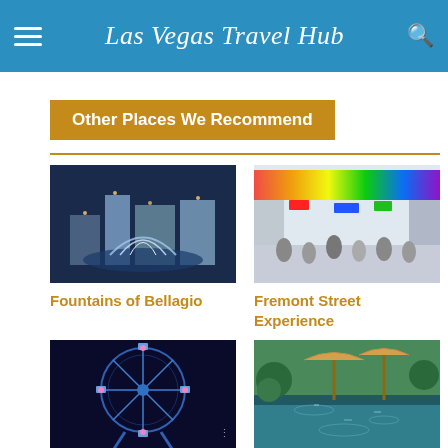Las Vegas Travel Hub
Other Places We Recommend
[Figure (photo): Fountains of Bellagio at night with illuminated hotels in background]
Fountains of Bellagio
[Figure (photo): Fremont Street Experience with colorful canopy and crowd of people]
Fremont Street Experience
[Figure (photo): Large Ferris wheel at night with blue lighting]
[Figure (photo): Outdoor water feature with umbrellas and greenery]